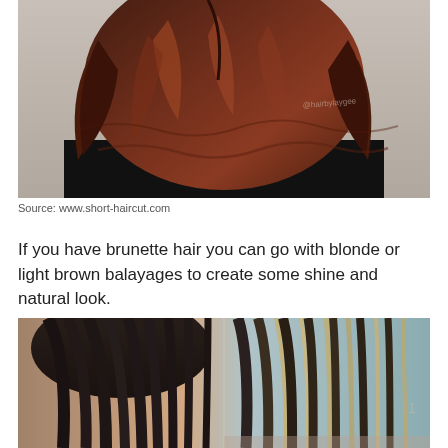[Figure (photo): Back view of a woman with dark brunette hair featuring reddish-brown balayage highlights, shoulder-length, wavy style. Watermark reads @hairbylaygee.]
Source: www.short-haircut.com
If you have brunette hair you can go with blonde or light brown balayages to create some shine and natural look.
[Figure (photo): Before and after side-by-side photo showing a person's hair with dark brown on the left and balayage blonde highlights on the right.]